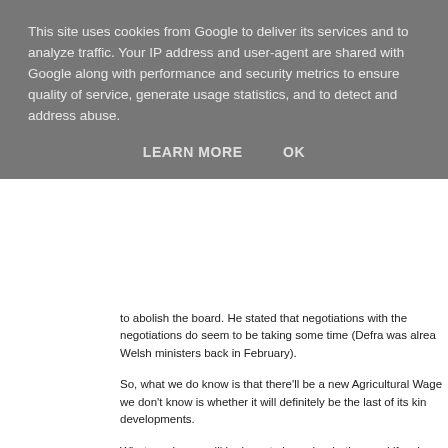This site uses cookies from Google to deliver its services and to analyze traffic. Your IP address and user-agent are shared with Google along with performance and security metrics to ensure quality of service, generate usage statistics, and to detect and address abuse.
LEARN MORE   OK
to abolish the board. He stated that negotiations with the negotiations do seem to be taking some time (Defra was already Welsh ministers back in February).
So, what we do know is that there'll be a new Agricultural Wage we don't know is whether it will definitely be the last of its kind developments.
What employers will be keen to know is whether, and if so how, is no longer an AWO in force – let's say, being optimistic, from O in the legislation which affect what can and cannot be done for current employment contracts.
Having said that, employers who are taking on workers between how, they should be amending their standard contracts in view flexibility further down the line.